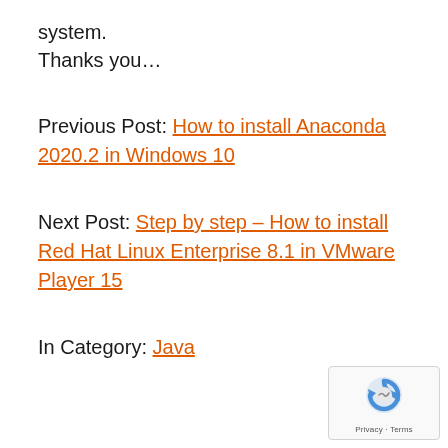system.
Thanks you…
Previous Post: How to install Anaconda 2020.2 in Windows 10
Next Post: Step by step – How to install Red Hat Linux Enterprise 8.1 in VMware Player 15
In Category: Java
[Figure (other): reCAPTCHA widget with Privacy and Terms links]